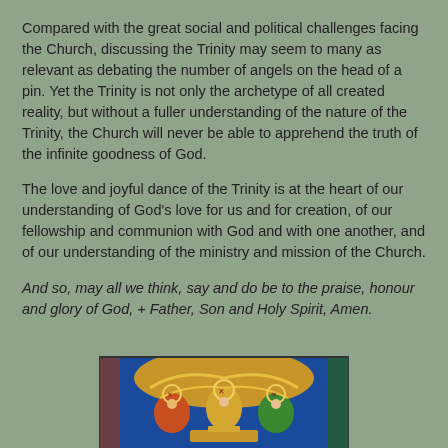Compared with the great social and political challenges facing the Church, discussing the Trinity may seem to many as relevant as debating the number of angels on the head of a pin. Yet the Trinity is not only the archetype of all created reality, but without a fuller understanding of the nature of the Trinity, the Church will never be able to apprehend the truth of the infinite goodness of God.
The love and joyful dance of the Trinity is at the heart of our understanding of God's love for us and for creation, of our fellowship and communion with God and with one another, and of our understanding of the ministry and mission of the Church.
And so, may all we think, say and do be to the praise, honour and glory of God, + Father, Son and Holy Spirit, Amen.
[Figure (illustration): A colorful religious mosaic or icon depicting figures with blue, gold, red, and green colors, appearing to be a Trinity or holy scene illustration.]